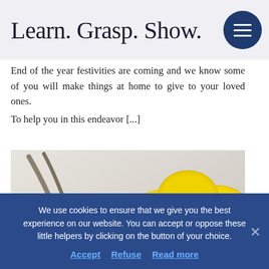Learn. Grasp. Show.
End of the year festivities are coming and we know some of you will make things at home to give to your loved ones.
To help you in this endeavor [...]
[Figure (photo): A silver spoon on a light surface with three yellow lemons in the background]
We use cookies to ensure that we give you the best experience on our website. You can accept or oppose these little helpers by clicking on the button of your choice.
Accept   Refuse   Read more